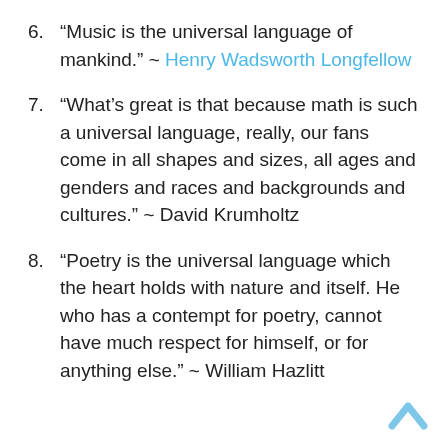6. “Music is the universal language of mankind.” ~ Henry Wadsworth Longfellow
7. “What’s great is that because math is such a universal language, really, our fans come in all shapes and sizes, all ages and genders and races and backgrounds and cultures.” ~ David Krumholtz
8. “Poetry is the universal language which the heart holds with nature and itself. He who has a contempt for poetry, cannot have much respect for himself, or for anything else.” ~ William Hazlitt